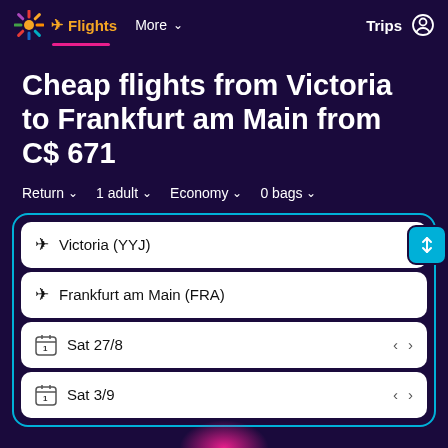Flights | More | Trips
Cheap flights from Victoria to Frankfurt am Main from C$ 671
Return   1 adult   Economy   0 bags
Victoria (YYJ)
Frankfurt am Main (FRA)
Sat 27/8
Sat 3/9